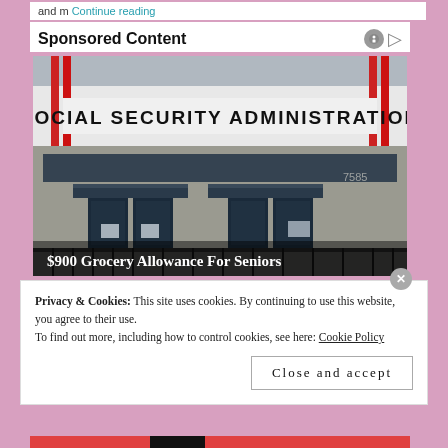and m Continue reading
Sponsored Content
[Figure (photo): Photograph of a Social Security Administration office building exterior. A large sign reads 'SOCIAL SECURITY ADMINISTRATION' in bold black letters on white. Below is an overlay text: '$900 Grocery Allowance For Seniors']
$900 Grocery Allowance For Seniors
Privacy & Cookies: This site uses cookies. By continuing to use this website, you agree to their use.
To find out more, including how to control cookies, see here: Cookie Policy
Close and accept